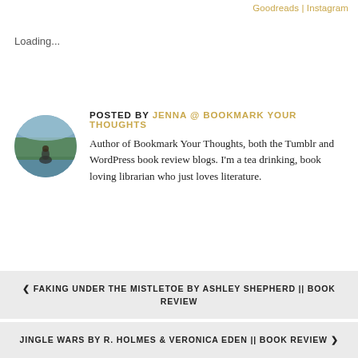Goodreads | Instagram
Loading...
POSTED BY JENNA @ BOOKMARK YOUR THOUGHTS
[Figure (photo): Circular avatar photo of a person sitting near water with trees in background]
Author of Bookmark Your Thoughts, both the Tumblr and WordPress book review blogs. I'm a tea drinking, book loving librarian who just loves literature.
< FAKING UNDER THE MISTLETOE BY ASHLEY SHEPHERD || BOOK REVIEW
JINGLE WARS BY R. HOLMES & VERONICA EDEN || BOOK REVIEW >